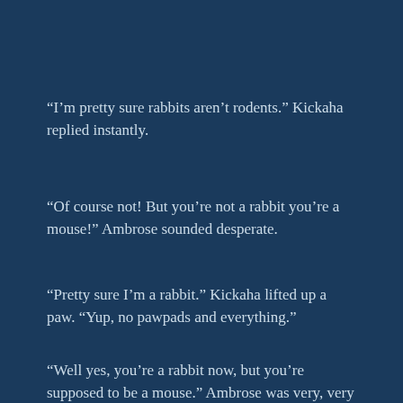“I’m pretty sure rabbits aren’t rodents.” Kickaha replied instantly.
“Of course not! But you’re not a rabbit you’re a mouse!” Ambrose sounded desperate.
“Pretty sure I’m a rabbit.” Kickaha lifted up a paw. “Yup, no pawpads and everything.”
“Well yes, you’re a rabbit now, but you’re supposed to be a mouse.” Ambrose was very, very tired of this.
“Then why did you turn me into a rabbit?” Kickaha asked.